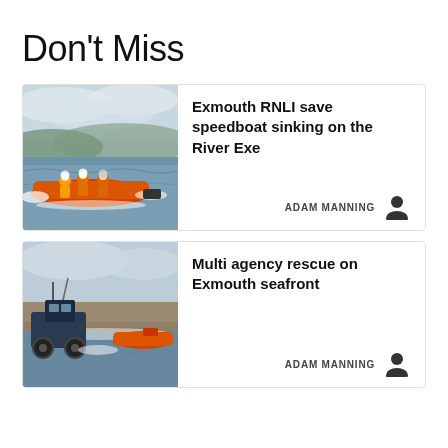Don't Miss
[Figure (photo): RNLI lifeboat with crew members in orange gear speeding across water with hills in background]
Exmouth RNLI save speedboat sinking on the River Exe
ADAM MANNING
[Figure (photo): Multi agency rescue scene on Exmouth seafront showing tractor and orange lifeboat on shoreline with water]
Multi agency rescue on Exmouth seafront
ADAM MANNING